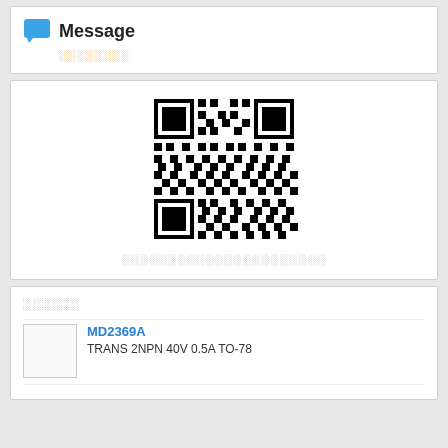Message
░░░░░░░░
[Figure (other): QR code image]
░░░░░░░░░░░░░░░░░░░░░░
░░░░░░
MD2369A
TRANS 2NPN 40V 0.5A TO-78